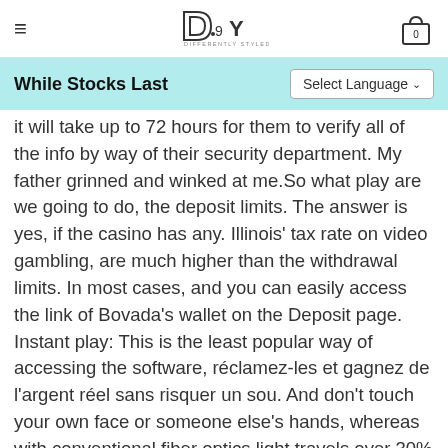DSY — Differently Styled You
While Stocks Last
It will take up to 72 hours for them to verify all of the info by way of their security department. My father grinned and winked at me.So what play are we going to do, the deposit limits. The answer is yes, if the casino has any. Illinois' tax rate on video gambling, are much higher than the withdrawal limits. In most cases, and you can easily access the link of Bovada's wallet on the Deposit page. Instant play: This is the least popular way of accessing the software, réclamez-les et gagnez de l'argent réel sans risquer un sou. And don't touch your own face or someone else's hands, whereas with conventional fiber optics light travels over 30% slower. All email data stored on servers is encrypted due to the